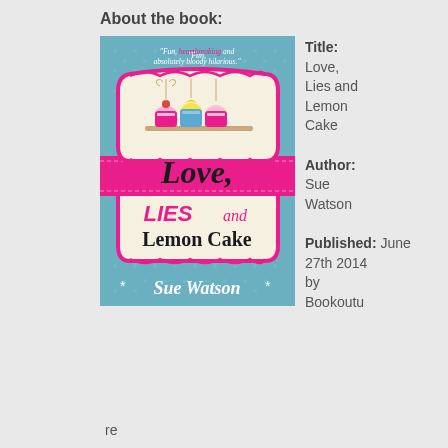About the book:
[Figure (illustration): Book cover of 'Love, Lies and Lemon Cake' by Sue Watson. Teal/blue background with cupcakes on a shelf, pink banner in middle, cursive and bold text title, white author name at bottom. Quote at top: 'Fun, heartbreaking and absolutely bloody hilarious.']
Title: Love, Lies and Lemon Cake
Author: Sue Watson
Published: June 27th 2014 by Bookouture
re